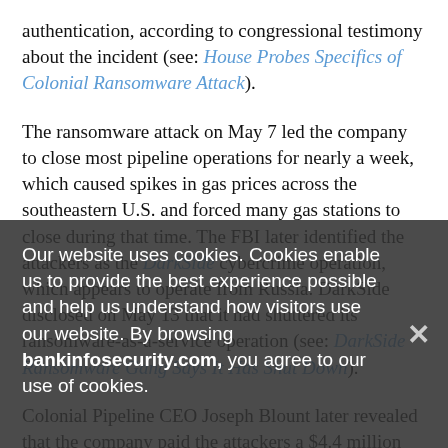authentication, according to congressional testimony about the incident (see: House Probes Specifics of Colonial Ransomware Attack).
The ransomware attack on May 7 led the company to close most pipeline operations for nearly a week, which caused spikes in gas prices across the southeastern U.S. and forced many gas stations to close during that time. The FBI later identified the attackers as the DarkSide cybercrime operation, which appears to operate from Russia. DarkSide disclosed on May 13 that it had shuttered its ransomware-as-a-service operation (see: DarkSide Ransomware Gang Says It Has Shut Down).
Colonial Pipeline CEO Joseph Blount later revealed that the company paid the attackers a $4.4 million ransom to receive a decryptor key. The FBI and the U.S. Department of Justice later recovered $2.3 million of the payment by
Our website uses cookies. Cookies enable us to provide the best experience possible and help us understand how visitors use our website. By browsing bankinfosecurity.com, you agree to our use of cookies.